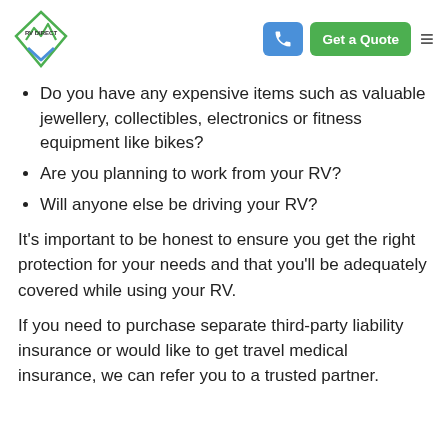RV DIRECT — navigation header with phone button, Get a Quote button, and hamburger menu
Do you have any expensive items such as valuable jewellery, collectibles, electronics or fitness equipment like bikes?
Are you planning to work from your RV?
Will anyone else be driving your RV?
It’s important to be honest to ensure you get the right protection for your needs and that you’ll be adequately covered while using your RV.
If you need to purchase separate third-party liability insurance or would like to get travel medical insurance, we can refer you to a trusted partner.